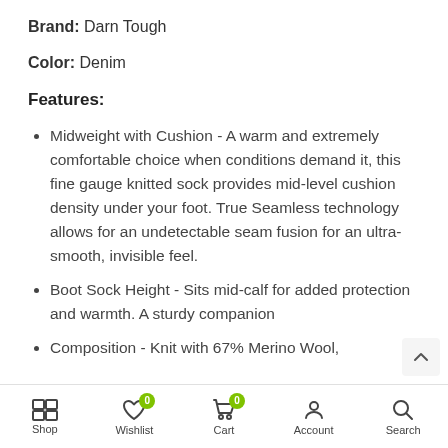Brand: Darn Tough
Color: Denim
Features:
Midweight with Cushion - A warm and extremely comfortable choice when conditions demand it, this fine gauge knitted sock provides mid-level cushion density under your foot. True Seamless technology allows for an undetectable seam fusion for an ultra-smooth, invisible feel.
Boot Sock Height - Sits mid-calf for added protection and warmth. A sturdy companion
Composition - Knit with 67% Merino Wool,
Shop  Wishlist  Cart  Account  Search